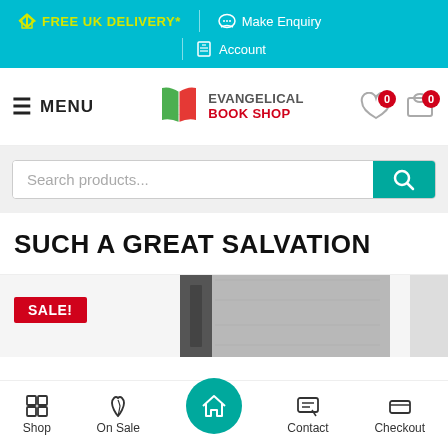FREE UK DELIVERY* | Make Enquiry | Account
[Figure (screenshot): Evangelical Book Shop navigation bar with menu button, logo, wishlist icon (0) and cart icon (0)]
[Figure (screenshot): Search bar with placeholder text 'Search products...' and teal search button]
SUCH A GREAT SALVATION
[Figure (screenshot): Product listing area with SALE! badge and a product image (book cover)]
Shop | On Sale | Home | Contact | Checkout